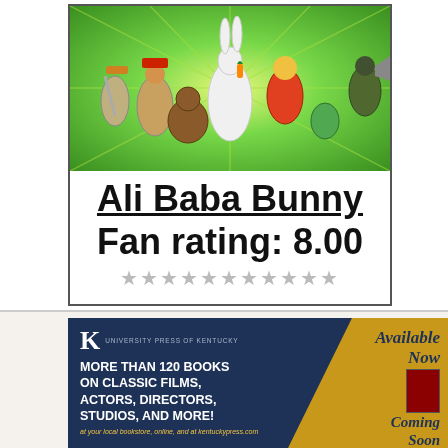[Figure (illustration): Cartoon illustration of Looney Tunes characters including Bugs Bunny (center, white) surrounded by various characters on a green radiant background]
Ali Baba Bunny
Fan rating: 8.00
★★★★★★★★★★★
[Figure (illustration): University Press of Kentucky advertisement banner. Navy blue and gold design. Logo with K and 'University Press of Kentucky'. Text: MORE THAN 120 BOOKS ON CLASSIC FILMS, ACTORS, DIRECTORS, STUDIOS, AND MORE! Available Now. Coming Soon. at your local bookstore, online, and at kentuckypress.com]